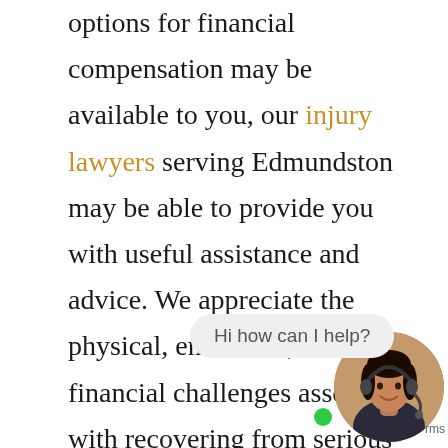options for financial compensation may be available to you, our injury lawyers serving Edmundston may be able to provide you with useful assistance and advice. We appreciate the physical, emotional, and financial challenges associated with recovering from serious injuries, and handle all aspects of our clients' claims so they can focus on healing.

If you are eligible to file a lawsuit against the party responsible for covering your damages, our Edmundston injury lawyers may be